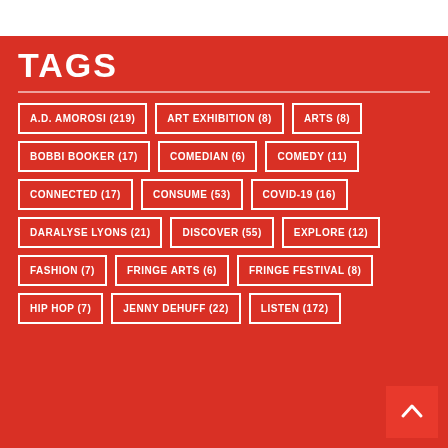TAGS
A.D. AMOROSI (219)
ART EXHIBITION (8)
ARTS (8)
BOBBI BOOKER (17)
COMEDIAN (6)
COMEDY (11)
CONNECTED (17)
CONSUME (53)
COVID-19 (16)
DARALYSE LYONS (21)
DISCOVER (55)
EXPLORE (12)
FASHION (7)
FRINGE ARTS (6)
FRINGE FESTIVAL (8)
HIP HOP (7)
JENNY DEHUFF (22)
LISTEN (172)